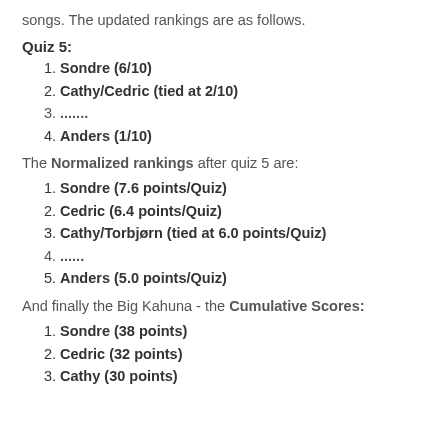songs. The updated rankings are as follows.
Quiz 5:
Sondre (6/10)
Cathy/Cedric (tied at 2/10)
.......
Anders (1/10)
The Normalized rankings after quiz 5 are:
Sondre (7.6 points/Quiz)
Cedric (6.4 points/Quiz)
Cathy/Torbjørn (tied at 6.0 points/Quiz)
......
Anders (5.0 points/Quiz)
And finally the Big Kahuna - the Cumulative Scores:
Sondre (38 points)
Cedric (32 points)
Cathy (30 points)